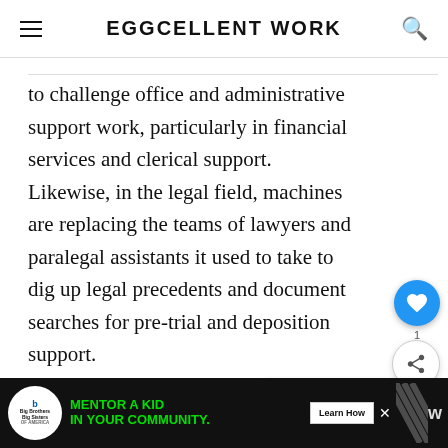EGGCELLENT WORK
to challenge office and administrative support work, particularly in financial services and clerical support. Likewise, in the legal field, machines are replacing the teams of lawyers and paralegal assistants it used to take to dig up legal precedents and document searches for pre-trial and deposition support.
[Figure (screenshot): Ad banner with Big Brothers Big Sisters logo, green text 'MENTOR A KID IN YOUR COMMUNITY.' Learn How button, decorative pattern, and W icon]
WHAT'S NEXT → 10+ Communicati...